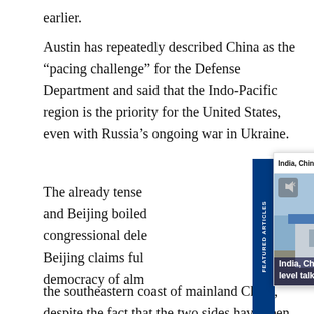earlier.
Austin has repeatedly described China as the “pacing challenge” for the Defense Department and said that the Indo-Pacific region is the priority for the United States, even with Russia’s ongoing war in Ukraine.
[Figure (screenshot): A featured article popup card with header 'India, China hold military level talks', a close button, a photo of flags (Chinese and Indian) in front of a building with military personnel, and a caption 'India, China hold military level talks'. A blue sidebar with 'FEATURED ARTICLES' text is partially visible on the left.]
The already tense [relationship between Washington] and Beijing boiled [over after a] congressional dele[gation visited Taiwan.]
Beijing claims ful[l sovereignty over Taiwan, a] democracy of alm[ost 24 million people located on] the southeastern coast of mainland China, despite the fact that the two sides have been governed separately